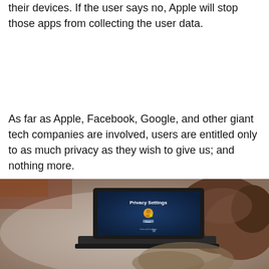their devices. If the user says no, Apple will stop those apps from collecting the user data.
As far as Apple, Facebook, Google, and other giant tech companies are involved, users are entitled only to as much privacy as they wish to give us; and nothing more.
[Figure (photo): A person lying on a carpet viewed from behind, looking at a laptop screen displaying a 'Privacy Settings' interface with a user icon and a lock.]